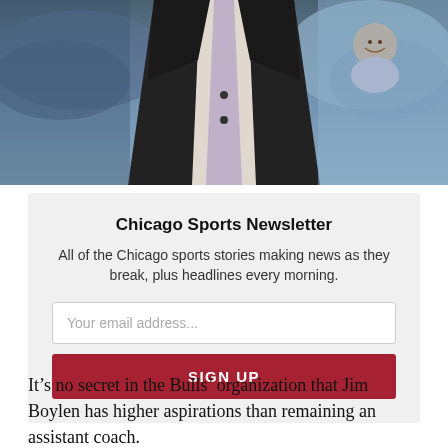[Figure (photo): Basketball coach in dark suit jacket with light tie, crowd visible in background, sports arena setting]
Chicago Sports Newsletter
All of the Chicago sports stories making news as they break, plus headlines every morning.
Your email address...
SIGN UP
It’s no secret in the Bulls’ organization that Jim Boylen has higher aspirations than remaining an assistant coach.